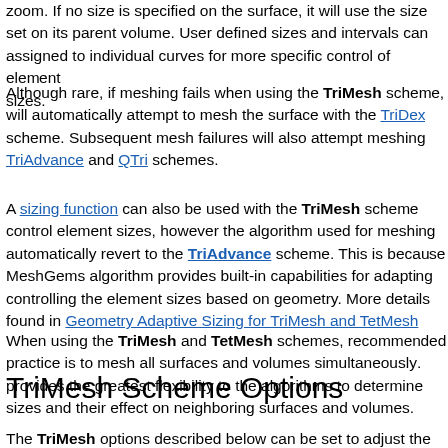zoom. If no size is specified on the surface, it will use the size set on its parent volume. User defined sizes and intervals can be assigned to individual curves for more specific control of element sizes.
Although rare, if meshing fails when using the TriMesh scheme, it will automatically attempt to mesh the surface with the TriDex scheme. Subsequent mesh failures will also attempt meshing with TriAdvance and QTri schemes.
A sizing function can also be used with the TriMesh scheme to control element sizes, however the algorithm used for meshing will automatically revert to the TriAdvance scheme. This is because the MeshGems algorithm provides built-in capabilities for adaptively controlling the element sizes based on geometry. More details can be found in Geometry Adaptive Sizing for TriMesh and TetMesh.
When using the TriMesh and TetMesh schemes, recommended practice is to mesh all surfaces and volumes simultaneously. This provides the greatest flexibility to the algorithms to determine element sizes and their effect on neighboring surfaces and volumes.
TriMesh Scheme Options
The TriMesh options described below can be set to adjust the